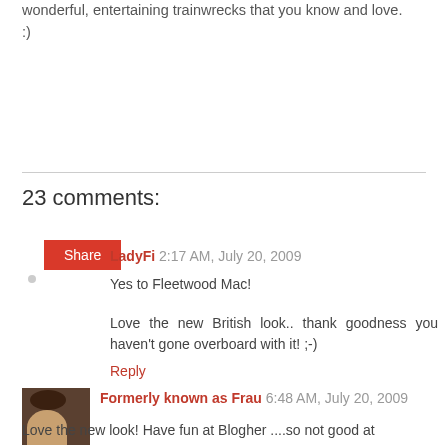wonderful, entertaining trainwrecks that you know and love. :)
Share
23 comments:
LadyFi 2:17 AM, July 20, 2009
Yes to Fleetwood Mac!
Love the new British look.. thank goodness you haven't gone overboard with it! ;-)
Reply
Formerly known as Frau 6:48 AM, July 20, 2009
Love the new look! Have fun at Blogher ....so not good at